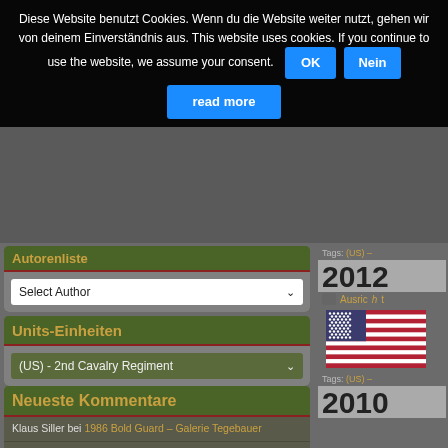Diese Website benutzt Cookies. Wenn du die Website weiter nutzt, gehen wir von deinem Einverständnis aus. This website uses cookies. If you continue to use the website, we assume your consent.
OK
Nein
read more
Autorenliste
Select Author
Units-Einheiten
(US) - 2nd Cavalry Regiment
Neueste Kommentare
Klaus Siller bei 1986 Bold Guard – Galerie Tegebauer
Klaus Siller bei 2022 WELSE-TROSS – Feldeinsatzübung der 3./Logistikbataillon 161 – Galerie Wiegmann
Klaus Siller bei 2002 Iron Journey – Galerie Hept
Klaus Siller bei 2022 Dynamic Front – Galerie Koenen
Lars de Vries bei 2022 Dynamic Front – Galerie Koenen
2012
Ausrichtung
[Figure (illustration): US flag illustration]
(US) -
2010